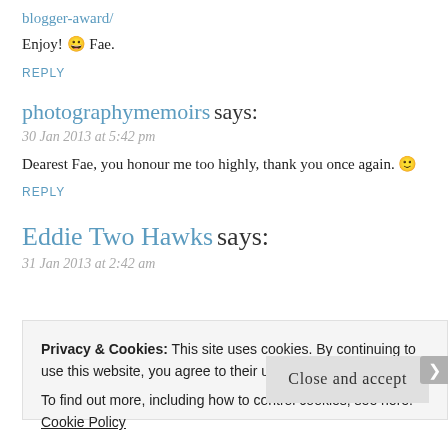blogger-award/
Enjoy! 😀 Fae.
REPLY
photographymemoirs says:
30 Jan 2013 at 5:42 pm
Dearest Fae, you honour me too highly, thank you once again. 🙂
REPLY
Eddie Two Hawks says:
31 Jan 2013 at 2:42 am
Privacy & Cookies: This site uses cookies. By continuing to use this website, you agree to their use. To find out more, including how to control cookies, see here: Cookie Policy
Close and accept